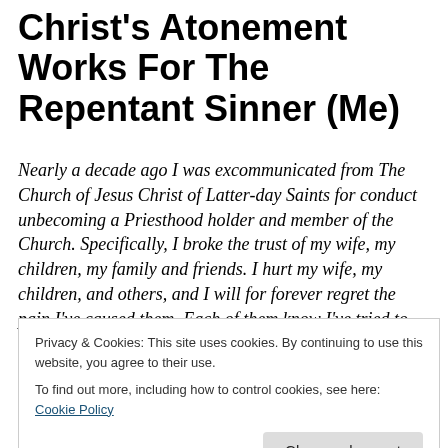Christ's Atonement Works For The Repentant Sinner (Me)
Nearly a decade ago I was excommunicated from The Church of Jesus Christ of Latter-day Saints for conduct unbecoming a Priesthood holder and member of the Church. Specifically, I broke the trust of my wife, my children, my family and friends. I hurt my wife, my children, and others, and I will for forever regret the pain I've caused them. Each of them know I've tried to make it better, as much as you can make restitution for something
Privacy & Cookies: This site uses cookies. By continuing to use this website, you agree to their use.
To find out more, including how to control cookies, see here: Cookie Policy
issues I needed to work through. HOWEVER, I NEVER